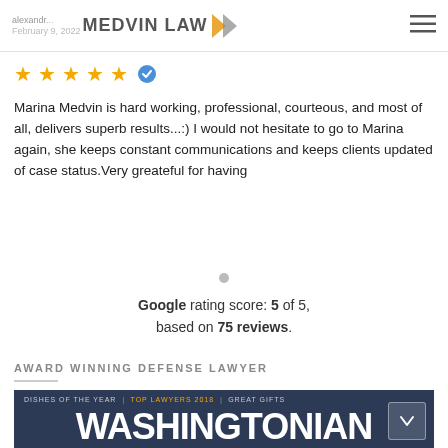alexandr... MEDVIN LAW >> February 9, 2022
[Figure (other): Five gold stars with a verified blue checkmark badge]
Marina Medvin is hard working, professional, courteous, and most of all, delivers superb results...:) I would not hesitate to go to Marina again, she keeps constant communications and keeps clients updated of case status.Very greateful for having
Google rating score: 5 of 5, based on 75 reviews.
AWARD WINNING DEFENSE LAWYER
[Figure (photo): Washingtonian magazine cover showing 'DISHES OF THE YEAR | TOP LAWYERS 2018 | GREAT GIFTS' header, large white WASHINGTONIAN title text, and BEST LAWYERS subtitle in gold on dark navy background]